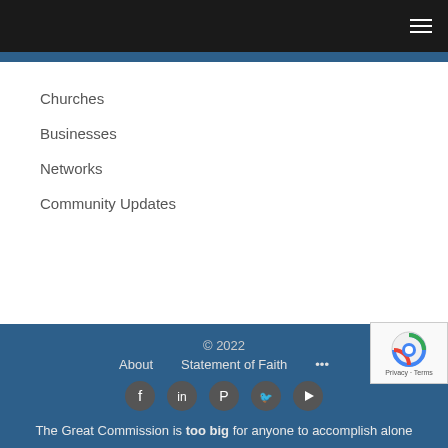Navigation menu header with hamburger icon
Churches
Businesses
Networks
Community Updates
© 2022  About  Statement of Faith  ...  Social icons: Facebook, LinkedIn, Pinterest, Twitter, YouTube  The Great Commission is too big for anyone to accomplish alone